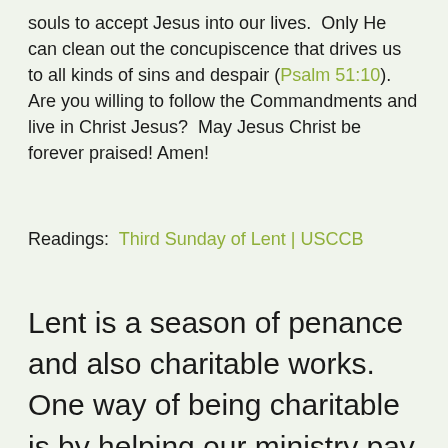souls to accept Jesus into our lives.  Only He can clean out the concupiscence that drives us to all kinds of sins and despair (Psalm 51:10).  Are you willing to follow the Commandments and live in Christ Jesus?  May Jesus Christ be forever praised! Amen!
Readings:  Third Sunday of Lent | USCCB
Lent is a season of penance and also charitable works. One way of being charitable is by helping our ministry pay its bills and expand. Please donate at our